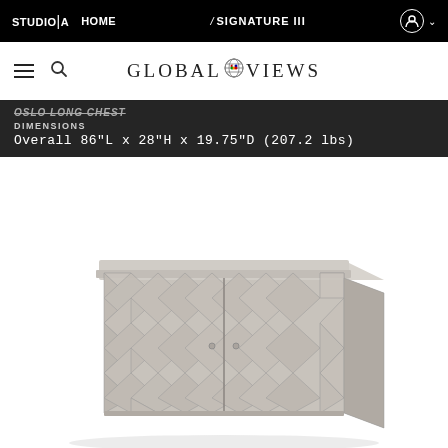STUDIO|A HOME  SIGNATURE III
[Figure (logo): Global Views brand logo with globe icon between GLOBAL and VIEWS text]
OSLO LONG CHEST
DIMENSIONS
Overall 86"L x 28"H x 19.75"D (207.2 lbs)
[Figure (photo): Oslo Long Chest with grey geometric diamond-pattern carved wood front panels and flat top surface]